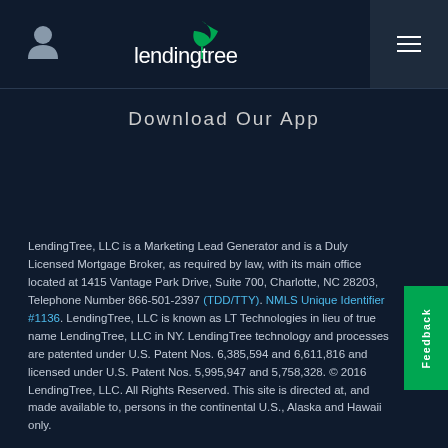LendingTree
Download Our App
LendingTree, LLC is a Marketing Lead Generator and is a Duly Licensed Mortgage Broker, as required by law, with its main office located at 1415 Vantage Park Drive, Suite 700, Charlotte, NC 28203, Telephone Number 866-501-2397 (TDD/TTY). NMLS Unique Identifier #1136. LendingTree, LLC is known as LT Technologies in lieu of true name LendingTree, LLC in NY. LendingTree technology and processes are patented under U.S. Patent Nos. 6,385,594 and 6,611,816 and licensed under U.S. Patent Nos. 5,995,947 and 5,758,328. © 2016 LendingTree, LLC. All Rights Reserved. This site is directed at, and made available to, persons in the continental U.S., Alaska and Hawaii only.